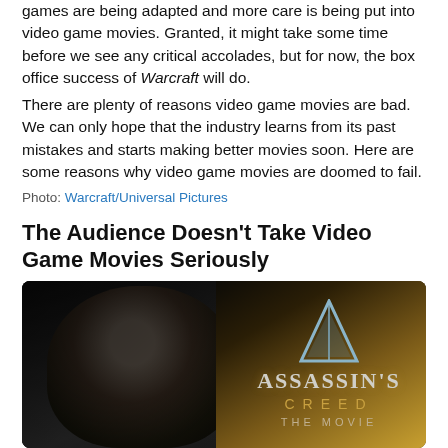games are being adapted and more care is being put into video game movies. Granted, it might take some time before we see any critical accolades, but for now, the box office success of Warcraft will do.
There are plenty of reasons video game movies are bad. We can only hope that the industry learns from its past mistakes and starts making better movies soon. Here are some reasons why video game movies are doomed to fail.
Photo: Warcraft/Universal Pictures
The Audience Doesn't Take Video Game Movies Seriously
[Figure (photo): Promotional image for Assassin's Creed The Movie, showing a hooded figure on the left against a dark background, and the Assassin's Creed logo on the right with a triangular symbol above the text ASSASSIN'S CREED THE MOVIE]